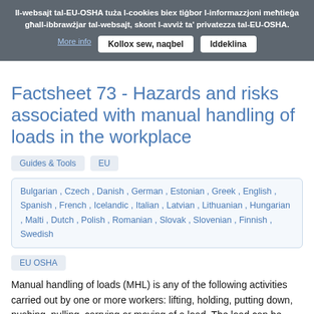Il-websajt tal-EU-OSHA tuża l-cookies biex tiġbor l-informazzjoni meħtieġa għall-ibbrawżjar tal-websajt, skont l-avviż ta' privatezza tal-EU-OSHA.
More info | Kollox sew, naqbel | Iddeklina
Factsheet 73 - Hazards and risks associated with manual handling of loads in the workplace
Guides & Tools
EU
Bulgarian , Czech , Danish , German , Estonian , Greek , English , Spanish , French , Icelandic , Italian , Latvian , Lithuanian , Hungarian , Malti , Dutch , Polish , Romanian , Slovak , Slovenian , Finnish , Swedish
EU OSHA
Manual handling of loads (MHL) is any of the following activities carried out by one or more workers: lifting, holding, putting down, pushing, pulling, carrying or moving of a load. The load can be animate (a person or animal) or inanimate (an object). Though decreasing lately, the rate of